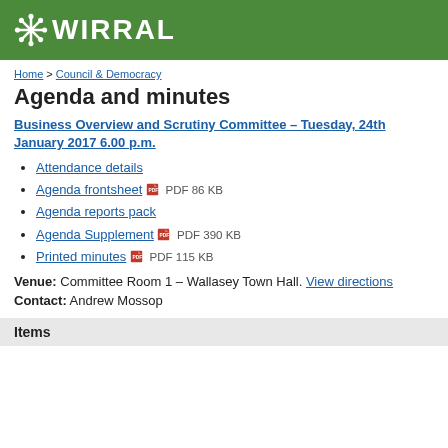[Figure (logo): Wirral Council logo - white snowflake/asterisk icon followed by WIRRAL text in white on green background]
Home > Council & Democracy
Agenda and minutes
Business Overview and Scrutiny Committee – Tuesday, 24th January 2017 6.00 p.m.
Attendance details
Agenda frontsheet PDF 86 KB
Agenda reports pack
Agenda Supplement PDF 390 KB
Printed minutes PDF 115 KB
Venue: Committee Room 1 – Wallasey Town Hall. View directions
Contact: Andrew Mossop
Items